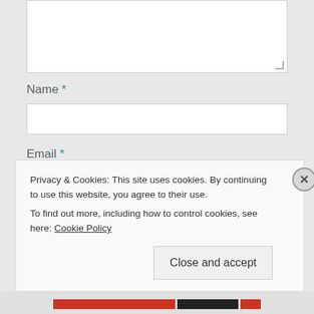[Figure (screenshot): Textarea input box at the top of the form, white background with resize handle in the corner]
Name *
[Figure (screenshot): Name text input field, white rectangle with border]
Email *
[Figure (screenshot): Email text input field, white rectangle with border]
Website
Privacy & Cookies: This site uses cookies. By continuing to use this website, you agree to their use.
To find out more, including how to control cookies, see here: Cookie Policy
Close and accept